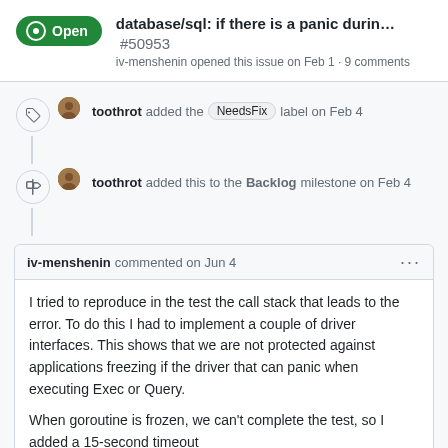database/sql: if there is a panic durin... #50953
iv-menshenin opened this issue on Feb 1 · 9 comments
toothrot added the NeedsFix label on Feb 4
toothrot added this to the Backlog milestone on Feb 4
iv-menshenin commented on Jun 4
I tried to reproduce in the test the call stack that leads to the error. To do this I had to implement a couple of driver interfaces. This shows that we are not protected against applications freezing if the driver that can panic when executing Exec or Query.

When goroutine is frozen, we can't complete the test, so I added a 15-second timeout

In any case, I corrected the tests today to make the problem I'm solving even clearer.